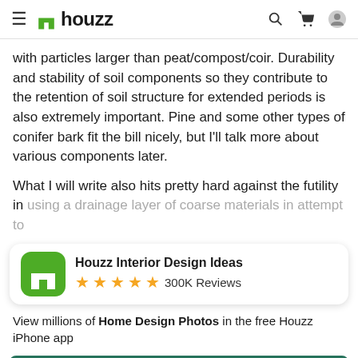houzz
with particles larger than peat/compost/coir. Durability and stability of soil components so they contribute to the retention of soil structure for extended periods is also extremely important. Pine and some other types of conifer bark fit the bill nicely, but I'll talk more about various components later.
What I will write also hits pretty hard against the futility in using a drainage layer of coarse materials in attempt to
[Figure (screenshot): Houzz app promotion banner with green logo icon, 5 stars, 300K Reviews label]
View millions of Home Design Photos in the free Houzz iPhone app
Continue
Go to Mobile Site